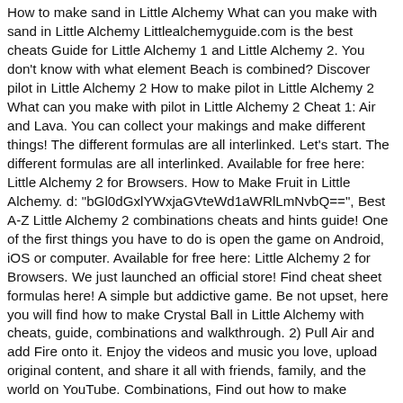How to make sand in Little Alchemy What can you make with sand in Little Alchemy Littlealchemyguide.com is the best cheats Guide for Little Alchemy 1 and Little Alchemy 2. You don't know with what element Beach is combined? Discover pilot in Little Alchemy 2 How to make pilot in Little Alchemy 2 What can you make with pilot in Little Alchemy 2 Cheat 1: Air and Lava. You can collect your makings and make different things! The different formulas are all interlinked. Let's start. The different formulas are all interlinked. Available for free here: Little Alchemy 2 for Browsers. How to Make Fruit in Little Alchemy. d: "bGl0dGxlYWxjaGVteWd1aWRlLmNvbQ==", Best A-Z Little Alchemy 2 combinations cheats and hints guide! One of the first things you have to do is open the game on Android, iOS or computer. Available for free here: Little Alchemy 2 for Browsers. We just launched an official store! Find cheat sheet formulas here! A simple but addictive game. Be not upset, here you will find how to make Crystal Ball in Little Alchemy with cheats, guide, combinations and walkthrough. 2) Pull Air and add Fire onto it. Enjoy the videos and music you love, upload original content, and share it all with friends, family, and the world on YouTube. Combinations, Find out how to make combos, and What Elements Make. 1:15 last combination if you don't like full videoHere's more "Little Alchemy" elements combination. id: "8dc8d7df-81c5-4c56-b5c0-f18ffe2ced94", Little Alchemy Cheats » Little Alchemy Beach. In this way, this combination works. Mein Mausklick auf deine Erfindung zeigt dir an, wie du sie zusammengesetzt hast. And iPhone users can download from the app